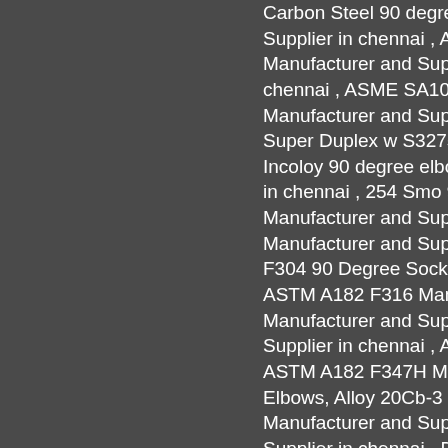Carbon Steel 90 degree elbo Supplier in chennai , ASME SA Manufacturer and Supplier in chennai , ASME SA105N Man Manufacturer and Supplier in c Super Duplex w S32750 / S32 Incoloy 90 degree elbows Inco in chennai , 254 Smo 90 Degr Manufacturer and Supplier i Manufacturer and Supplier in c F304 90 Degree Socket Weld ASTM A182 F316 Manufactur Manufacturer and Supplier in Supplier in chennai , ASTM A1 ASTM A182 F347H Manufactu Elbows, Alloy 20Cb-3 Manuf Manufacturer and Supplier in c Supplier in chennai , Duplex